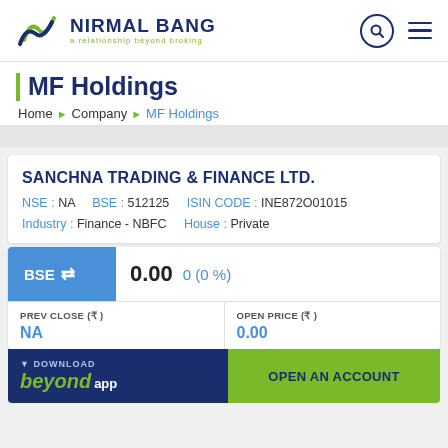[Figure (logo): Nirmal Bang logo with wave icon and tagline 'a relationship beyond broking']
MF Holdings
Home › Company › MF Holdings
SANCHNA TRADING & FINANCE LTD.
NSE : NA   BSE : 512125   ISIN CODE : INE872O01015
Industry : Finance - NBFC   House : Private
BSE ⇌ 0.00   0 (0 %)
| PREV CLOSE (₹) | OPEN PRICE (₹) |
| --- | --- |
| NA | 0.00 |
[Figure (screenshot): Download beyond app button and Open an Account button]